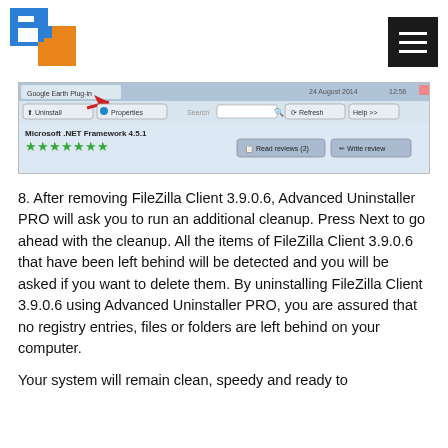[Logo: Software Informer / Advanced Uninstaller PRO site logo] [Hamburger menu button]
[Figure (screenshot): Screenshot of Advanced Uninstaller PRO interface showing Google Earth Plugin listed on 24 August 2014, with a red arrow pointing to the Uninstall button. Below shows Microsoft .NET Framework 4.5.1 with a star rating.]
8. After removing FileZilla Client 3.9.0.6, Advanced Uninstaller PRO will ask you to run an additional cleanup. Press Next to go ahead with the cleanup. All the items of FileZilla Client 3.9.0.6 that have been left behind will be detected and you will be asked if you want to delete them. By uninstalling FileZilla Client 3.9.0.6 using Advanced Uninstaller PRO, you are assured that no registry entries, files or folders are left behind on your computer.
Your system will remain clean, speedy and ready to